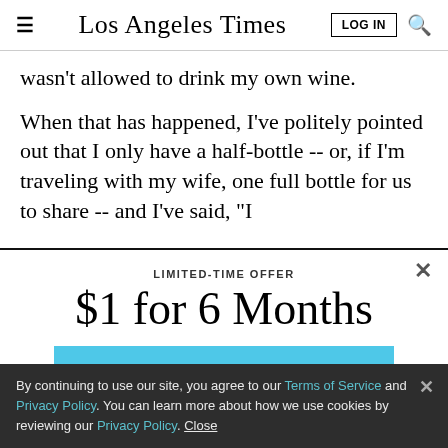Los Angeles Times
wasn't allowed to drink my own wine.
When that has happened, I've politely pointed out that I only have a half-bottle -- or, if I'm traveling with my wife, one full bottle for us to share -- and I've said, "I
[Figure (screenshot): Subscription modal overlay with LIMITED-TIME OFFER heading, $1 for 6 Months price headline, and SUBSCRIBE NOW button in light blue]
By continuing to use our site, you agree to our Terms of Service and Privacy Policy. You can learn more about how we use cookies by reviewing our Privacy Policy. Close